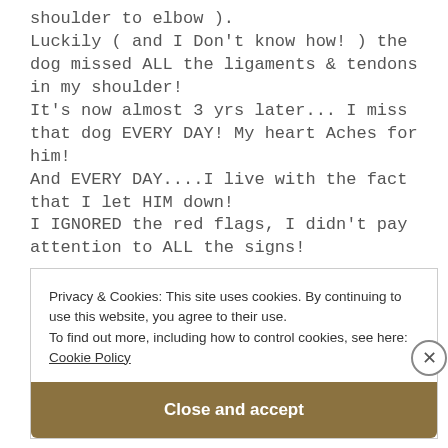shoulder to elbow ).
Luckily ( and I Don't know how! ) the dog missed ALL the ligaments & tendons in my shoulder!
It's now almost 3 yrs later... I miss that dog EVERY DAY! My heart Aches for him!
And EVERY DAY....I live with the fact that I let HIM down!
I IGNORED the red flags, I didn't pay attention to ALL the signs!
Privacy & Cookies: This site uses cookies. By continuing to use this website, you agree to their use.
To find out more, including how to control cookies, see here: Cookie Policy
Close and accept